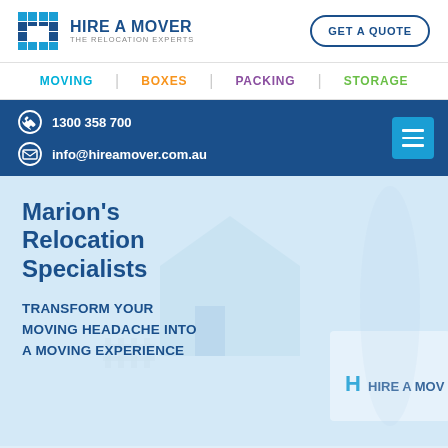[Figure (logo): Hire A Mover logo with H icon and tagline 'The Relocation Experts']
GET A QUOTE
MOVING | BOXES | PACKING | STORAGE
1300 358 700
info@hireamover.com.au
Marion's Relocation Specialists
TRANSFORM YOUR MOVING HEADACHE INTO A MOVING EXPERIENCE
[Figure (photo): Hero image showing a Hire A Mover employee with crossed arms smiling, standing in front of a white house and a Hire A Mover branded truck/van]